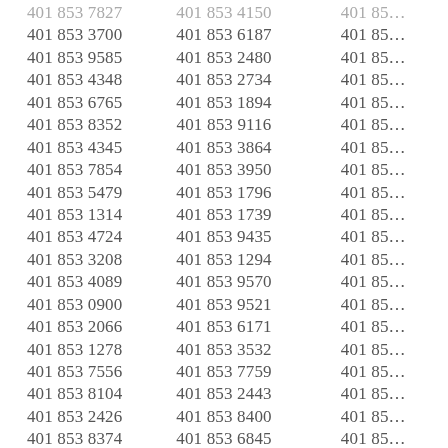401 853 7827 (partial top)
401 853 3700
401 853 9585
401 853 4348
401 853 6765
401 853 8352
401 853 4345
401 853 7854
401 853 5479
401 853 1314
401 853 4724
401 853 3208
401 853 4089
401 853 0900
401 853 2066
401 853 1278
401 853 7556
401 853 8104
401 853 2426
401 853 8374
401 853 0704
401 853 4150 (partial top)
401 853 6187
401 853 2480
401 853 2734
401 853 1894
401 853 9116
401 853 3864
401 853 3950
401 853 1796
401 853 1739
401 853 9435
401 853 1294
401 853 9570
401 853 9521
401 853 6171
401 853 3532
401 853 7759
401 853 2443
401 853 8400
401 853 6845
401 853 5039